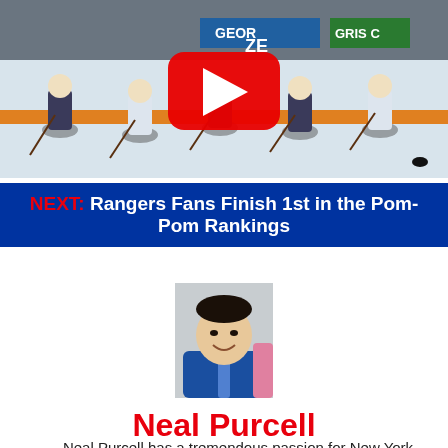[Figure (photo): Hockey game scene with players on ice, a YouTube play button overlay in the center, rink boards visible in background with partial text 'GEOR', 'ZE', 'GRIS C']
NEXT: Rangers Fans Finish 1st in the Pom-Pom Rankings
[Figure (photo): Headshot of Neal Purcell, a man wearing a blue suit and blue tie, smiling at the camera]
Neal Purcell
Neal Purcell has a tremendous passion for New York